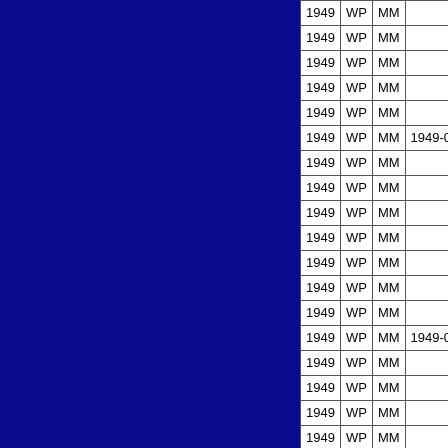| Year | Type | Code | Date |
| --- | --- | --- | --- |
| 1949 | WP | MM |  |
| 1949 | WP | MM |  |
| 1949 | WP | MM |  |
| 1949 | WP | MM |  |
| 1949 | WP | MM |  |
| 1949 | WP | MM | 1949-07-29 |
| 1949 | WP | MM |  |
| 1949 | WP | MM |  |
| 1949 | WP | MM |  |
| 1949 | WP | MM |  |
| 1949 | WP | MM |  |
| 1949 | WP | MM |  |
| 1949 | WP | MM |  |
| 1949 | WP | MM | 1949-07-30 |
| 1949 | WP | MM |  |
| 1949 | WP | MM |  |
| 1949 | WP | MM |  |
| 1949 | WP | MM |  |
| 1949 | WP | MM |  |
| 1949 | WP | MM |  |